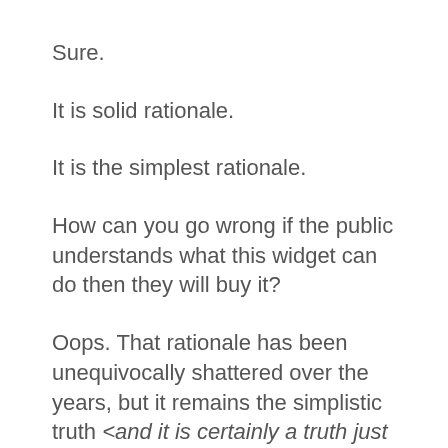Sure.
It is solid rationale.
It is the simplest rationale.
How can you go wrong if the public understands what this widget can do then they will buy it?
Oops. That rationale has been unequivocally shattered over the years, but it remains the simplistic truth <and it is certainly a truth just maybe just not the